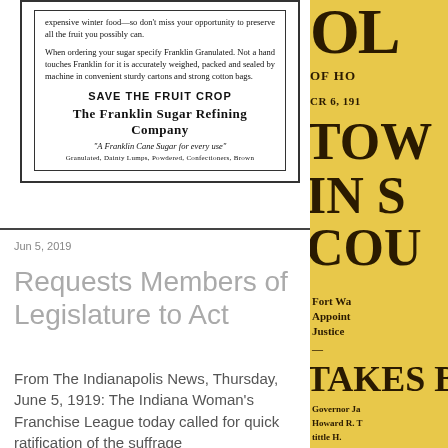[Figure (other): Newspaper advertisement for The Franklin Sugar Refining Company, with text about saving the fruit crop and ordering Franklin Granulated sugar.]
Jun 5, 2019
Requests Members of Legislature to Act
From The Indianapolis News, Thursday, June 5, 1919: The Indiana Woman's Franchise League today called for quick ratification of the suffrage
[Figure (other): Partial view of a yellow-background newspaper page with large bold headlines including TOW, IN S, COU, TAKES, and smaller text about Fort Wayne appointment, Justice, Governor James, Howard R.]